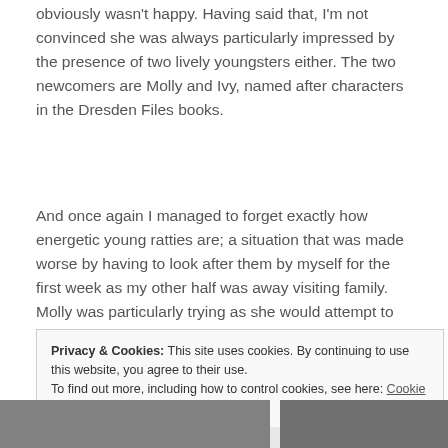obviously wasn't happy. Having said that, I'm not convinced she was always particularly impressed by the presence of two lively youngsters either. The two newcomers are Molly and Ivy, named after characters in the Dresden Files books.
And once again I managed to forget exactly how energetic young ratties are; a situation that was made worse by having to look after them by myself for the first week as my other half was away visiting family. Molly was particularly trying as she would attempt to use me as a jumping off point to absolutely anywhere else she thought she might be
Privacy & Cookies: This site uses cookies. By continuing to use this website, you agree to their use.
To find out more, including how to control cookies, see here: Cookie Policy
Close and accept
[Figure (photo): Photo strip at the bottom showing partial images of rats or animals, two side-by-side photos partially visible]